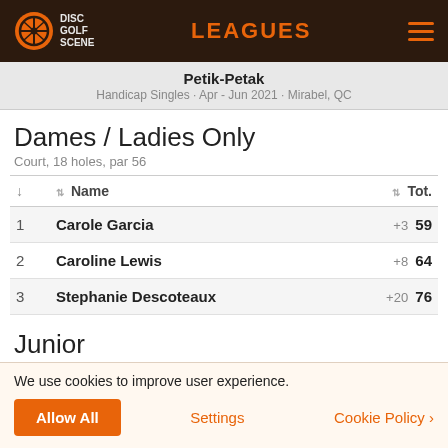LEAGUES
Petik-Petak
Handicap Singles · Apr - Jun 2021 · Mirabel, QC
Dames / Ladies Only
Court, 18 holes, par 56
| ↓ | Name | Tot. |
| --- | --- | --- |
| 1 | Carole Garcia | +3  59 |
| 2 | Caroline Lewis | +8  64 |
| 3 | Stephanie Descoteaux | +20  76 |
Junior
Court, 18 holes, par 56
| ↓ | Name | Tot. |
| --- | --- | --- |
| 1 | Alexis Bouchard | +72  128 |
We use cookies to improve user experience.